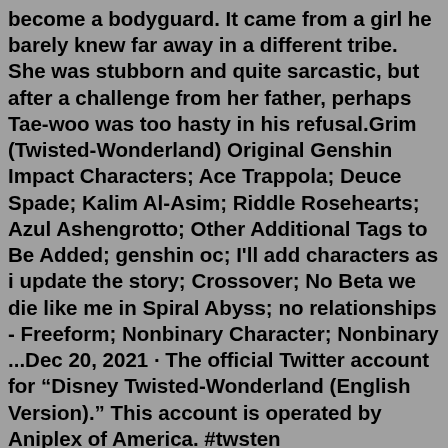become a bodyguard. It came from a girl he barely knew far away in a different tribe. She was stubborn and quite sarcastic, but after a challenge from her father, perhaps Tae-woo was too hasty in his refusal.Grim (Twisted-Wonderland) Original Genshin Impact Characters; Ace Trappola; Deuce Spade; Kalim Al-Asim; Riddle Rosehearts; Azul Ashengrotto; Other Additional Tags to Be Added; genshin oc; I'll add characters as i update the story; Crossover; No Beta we die like me in Spiral Abyss; no relationships - Freeform; Nonbinary Character; Nonbinary ...Dec 20, 2021 · The official Twitter account for “Disney Twisted-Wonderland (English Version).” This account is operated by Aniplex of America. #twsten #twistedwonderland Commission Spots Taken: 2. Request Spots Taken: 5. ✨ This Commission/Request Sheet is for OC Inserts, Poetry, Short Stories, Song Lyrics & X-Readers. ✨ You can ask for a Commission or a Request either by Direct/Private Message on Tumblr or through an